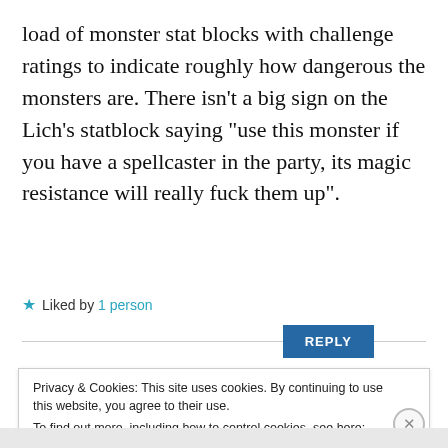load of monster stat blocks with challenge ratings to indicate roughly how dangerous the monsters are. There isn't a big sign on the Lich's statblock saying “use this monster if you have a spellcaster in the party, its magic resistance will really fuck them up”.
★ Liked by 1 person
REPLY
Privacy & Cookies: This site uses cookies. By continuing to use this website, you agree to their use. To find out more, including how to control cookies, see here: Cookie Policy
Close and accept